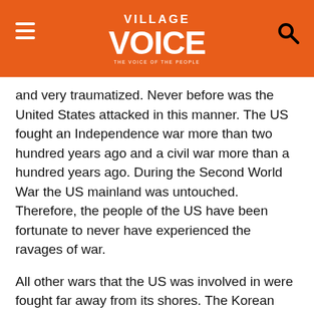Village Voice
and very traumatized. Never before was the United States attacked in this manner. The US fought an Independence war more than two hundred years ago and a civil war more than a hundred years ago. During the Second World War the US mainland was untouched. Therefore, the people of the US have been fortunate to never have experienced the ravages of war.
All other wars that the US was involved in were fought far away from its shores. The Korean and Vietnam wars, two of the most prolonged war up to September 2001 were thousands of miles away. Therefore this was a new experience for its people.
It also cracked the confidence of ordinary people that they were safe from wars in the US for the first time